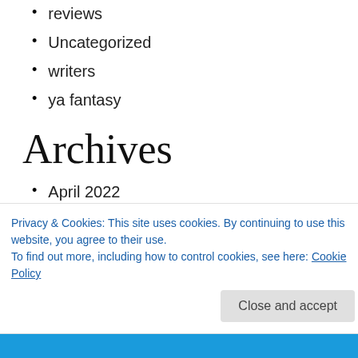reviews
Uncategorized
writers
ya fantasy
Archives
April 2022
August 2021
July 2021
May 2021
October 2020
Privacy & Cookies: This site uses cookies. By continuing to use this website, you agree to their use.
To find out more, including how to control cookies, see here: Cookie Policy